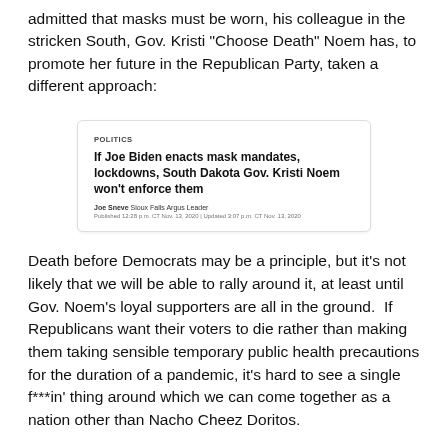admitted that masks must be worn, his colleague in the stricken South, Gov. Kristi “Choose Death” Noem has, to promote her future in the Republican Party, taken a different approach:
[Figure (screenshot): News article screenshot from Sioux Falls Argus Leader. Category label: POLITICS. Headline: 'If Joe Biden enacts mask mandates, lockdowns, South Dakota Gov. Kristi Noem won’t enforce them'. Byline: Joe Sneve, Sioux Falls Argus Leader. Published 12:28 p.m. CT Nov. 13, 2020 | Updated 3:07 p.m. CT Nov. 13, 2020]
Death before Democrats may be a principle, but it's not likely that we will be able to rally around it, at least until Gov. Noem’s loyal supporters are all in the ground.  If Republicans want their voters to die rather than making them taking sensible temporary public health precautions for the duration of a pandemic, it’s hard to see a single f***in’ thing around which we can come together as a nation other than Nacho Cheez Doritos.
There’s a peculiar thing about all of these divisions: on one side is white supremacy, usually financed by plutocratic big